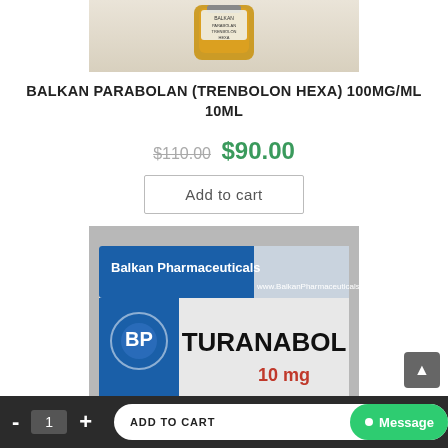[Figure (photo): Product photo of a small amber glass vial/bottle of Balkan Parabolan (Trenbolon Hexa) 100mg/ml 10ml, shown against a light background]
BALKAN PARABOLAN (TRENBOLON HEXA) 100MG/ML 10ML
$110.00 $90.00
Add to cart
[Figure (photo): Product photo of Balkan Pharmaceuticals Turanabol 10mg box/packaging, showing the blue and white Balkan Pharmaceuticals label with www.BalkanPharmaceuticals.com and TURANABOL 10mg text in red]
- 1 + ADD TO CART Message